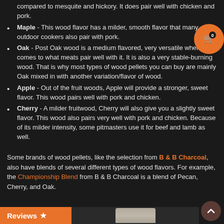compared to mesquite and hickory. It does pair well with chicken and pork.
Maple - This wood flavor has a milder, smooth flavor that many outdoor cookers also pair with pork.
Oak - Post Oak wood is a medium flavored, very versatile when it comes to what meats pair well with it. It is also a very stable-burning wood. That is why most types of wood pellets you can buy are mainly Oak mixed in with another variation/flavor of wood.
Apple - Out of the fruit woods, Apple will provide a stronger, sweet flavor. This wood pairs well with pork and chicken.
Cherry - A milder fruitwood, Cherry will also give you a slightly sweet flavor. This wood also pairs very well with pork and chicken. Because of its milder intensity, some pitmasters use it for beef and lamb as well.
Some brands of wood pellets, like the selection from B & B Charcoal, also have blends of several different types of wood flavors. For example, the Championship Blend from B & B Charcoal is a blend of Pecan, Cherry, and Oak.
Reviews ★